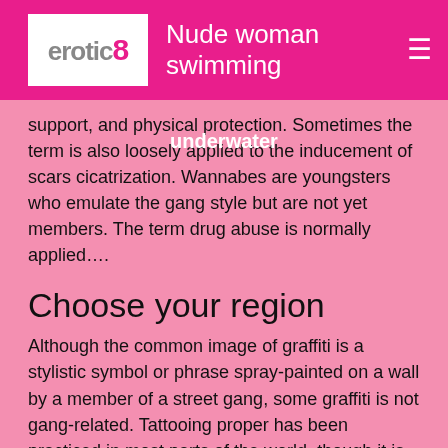erotic8 | Nude woman swimming
underwater
support, and physical protection. Sometimes the term is also loosely applied to the inducement of scars cicatrization. Wannabes are youngsters who emulate the gang style but are not yet members. The term drug abuse is normally applied….
Choose your region
Although the common image of graffiti is a stylistic symbol or phrase spray-painted on a wall by a member of a street gang, some graffiti is not gang-related. Tattooing proper has been practiced in most parts of the world, though it is rare among populations with…. Facebook Twitter. Related Topics: Gang Show more. History at your fingertips. Most cliques are separated in age by two to three years, so that within a barrio there is a succession of cliques, which together make up a larger barrio unit of older and younger